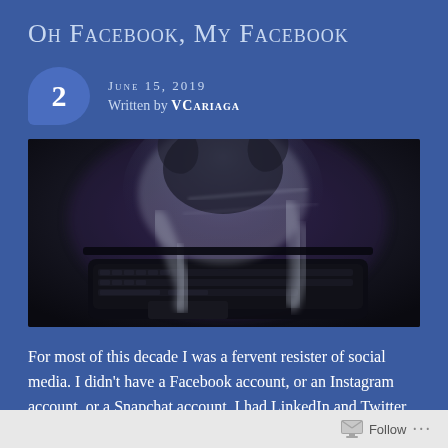Oh Facebook, My Facebook
June 15, 2019
Written by VCARIAGA
[Figure (photo): A ghost-like figure with translucent hands hovering over a laptop keyboard in a dark, moody image]
For most of this decade I was a fervent resister of social media. I didn't have a Facebook account, or an Instagram account, or a Snapchat account. I had LinkedIn and Twitter accounts for professional
Follow